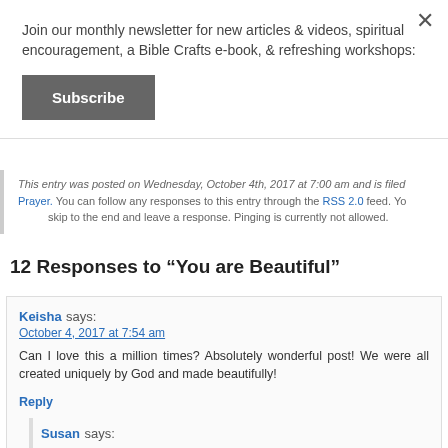Join our monthly newsletter for new articles & videos, spiritual encouragement, a Bible Crafts e-book, & refreshing workshops:
Subscribe
This entry was posted on Wednesday, October 4th, 2017 at 7:00 am and is filed under Prayer. You can follow any responses to this entry through the RSS 2.0 feed. You can skip to the end and leave a response. Pinging is currently not allowed.
12 Responses to “You are Beautiful”
Keisha says: October 4, 2017 at 7:54 am
Can I love this a million times? Absolutely wonderful post! We were all created uniquely by God and made beautifully!
Reply
Susan says: